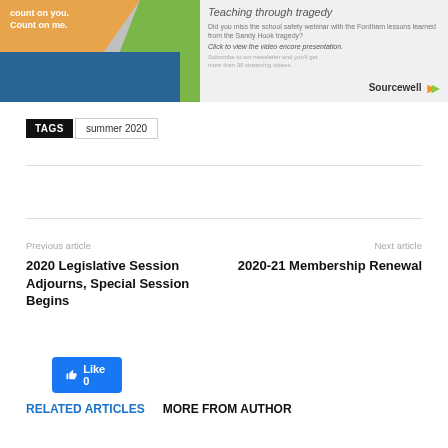[Figure (photo): Sourcewell advertisement banner showing a man speaking with orange, green, and blue background shapes and text 'count on you. Count on me.' with Sourcewell logo and text about teaching through tragedy video presentation.]
TAGS summer 2020
Like 0
Previous article
2020 Legislative Session Adjourns, Special Session Begins
Next article
2020-21 Membership Renewal
RELATED ARTICLES MORE FROM AUTHOR